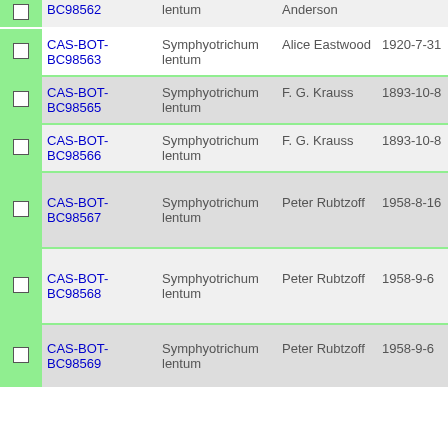|  | ID | Species | Collector | Date | Number |
| --- | --- | --- | --- | --- | --- |
| ☐ | CAS-BOT-BC98562 | Symphyotrichum lentum | Anderson |  |  |
| ☐ | CAS-BOT-BC98563 | Symphyotrichum lentum | Alice Eastwood | 1920-7-31 | 9993 |
| ☐ | CAS-BOT-BC98565 | Symphyotrichum lentum | F. G. Krauss | 1893-10-8 | s.n. |
| ☐ | CAS-BOT-BC98566 | Symphyotrichum lentum | F. G. Krauss | 1893-10-8 | s.n. |
| ☐ | CAS-BOT-BC98567 | Symphyotrichum lentum | Peter Rubtzoff | 1958-8-16 | 3863 |
| ☐ | CAS-BOT-BC98568 | Symphyotrichum lentum | Peter Rubtzoff | 1958-9-6 | 3971 |
| ☐ | CAS-BOT-BC98569 | Symphyotrichum lentum | Peter Rubtzoff | 1958-9-6 | 3986 |